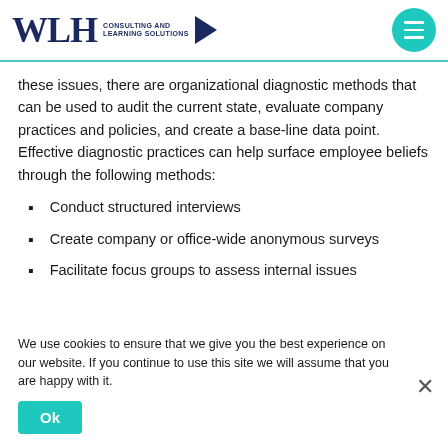WLH Consulting and Learning Solutions
these issues, there are organizational diagnostic methods that can be used to audit the current state, evaluate company practices and policies, and create a base-line data point. Effective diagnostic practices can help surface employee beliefs through the following methods:
Conduct structured interviews
Create company or office-wide anonymous surveys
Facilitate focus groups to assess internal issues
We use cookies to ensure that we give you the best experience on our website. If you continue to use this site we will assume that you are happy with it. Ok